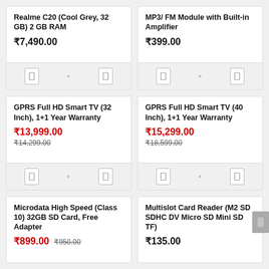Realme C20 (Cool Grey, 32 GB) 2 GB RAM
₹7,490.00
MP3/ FM Module with Built-in Amplifier
₹399.00
GPRS Full HD Smart TV (32 Inch), 1+1 Year Warranty
₹13,999.00
₹14,299.00
GPRS Full HD Smart TV (40 Inch), 1+1 Year Warranty
₹15,299.00
₹18,599.00
Microdata High Speed (Class 10) 32GB SD Card, Free Adapter
₹899.00
₹950.00
Multislot Card Reader (M2 SD SDHC DV Micro SD Mini SD TF)
₹135.00